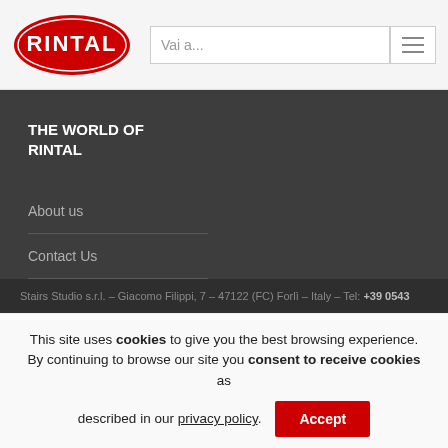[Figure (logo): Rintal logo — white RINTAL text on red oval]
Vai a...
THE WORLD OF RINTAL
About us
Contact Us
Stairs Studio s.r.l. – Giacomo Filippi, 7 – 47122 (FC) Forlì – Italy – Tel: +39 0543
This site uses cookies to give you the best browsing experience. By continuing to browse our site you consent to receive cookies as described in our privacy policy.